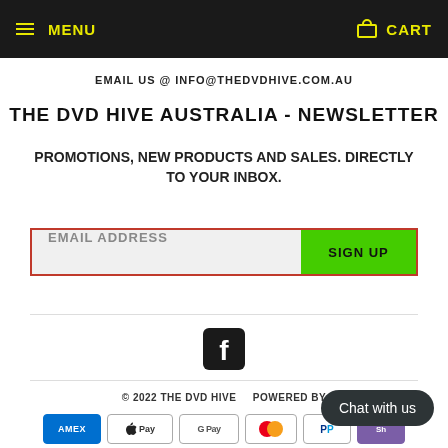Menu | Cart
EMAIL US @ INFO@THEDVDHIVE.COM.AU
THE DVD HIVE AUSTRALIA - NEWSLETTER
Promotions, new products and sales. Directly to your inbox.
[Figure (screenshot): Email address input field with red border and green Sign Up button]
[Figure (logo): Facebook logo icon in black square]
© 2022 THE DVD HIVE   Powered by ...